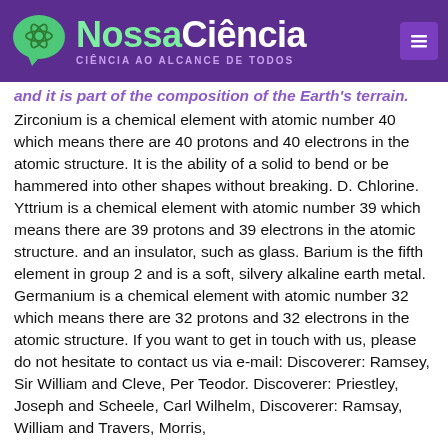NossaCiência — CIÊNCIA AO ALCANCE DE TODOS
... and it is part of the composition of the Earth's terrain. Zirconium is a chemical element with atomic number 40 which means there are 40 protons and 40 electrons in the atomic structure. It is the ability of a solid to bend or be hammered into other shapes without breaking. D. Chlorine. Yttrium is a chemical element with atomic number 39 which means there are 39 protons and 39 electrons in the atomic structure. and an insulator, such as glass. Barium is the fifth element in group 2 and is a soft, silvery alkaline earth metal. Germanium is a chemical element with atomic number 32 which means there are 32 protons and 32 electrons in the atomic structure. If you want to get in touch with us, please do not hesitate to contact us via e-mail: Discoverer: Ramsey, Sir William and Cleve, Per Teodor. Discoverer: Priestley, Joseph and Scheele, Carl Wilhelm, Discoverer: Ramsay, William and Travers, Morris,